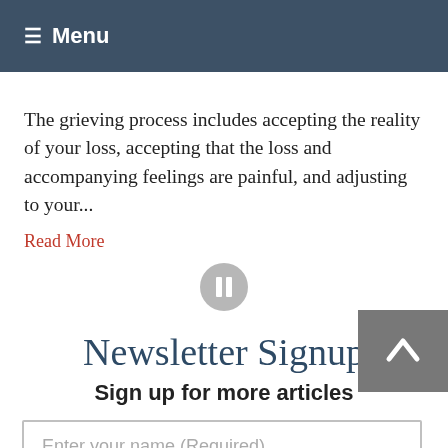≡ Menu
The grieving process includes accepting the reality of your loss, accepting that the loss and accompanying feelings are painful, and adjusting to your...
Read More
[Figure (other): Pause/play button icon (grey circle with pause symbol)]
Newsletter Signup
Sign up for more articles
Enter your name (Required)